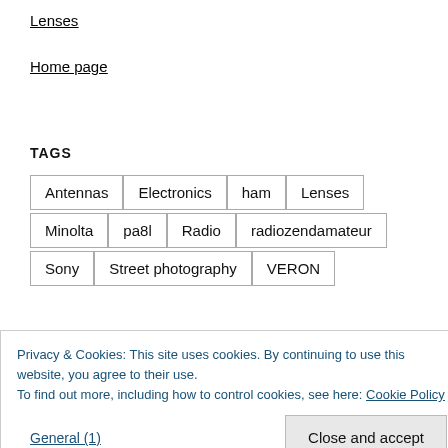Lenses
Home page
TAGS
Antennas  Electronics  ham  Lenses  Minolta  pa8l  Radio  radiozendamateur  Sony  Street photography  VERON
Privacy & Cookies: This site uses cookies. By continuing to use this website, you agree to their use.
To find out more, including how to control cookies, see here: Cookie Policy
Close and accept
General (1)